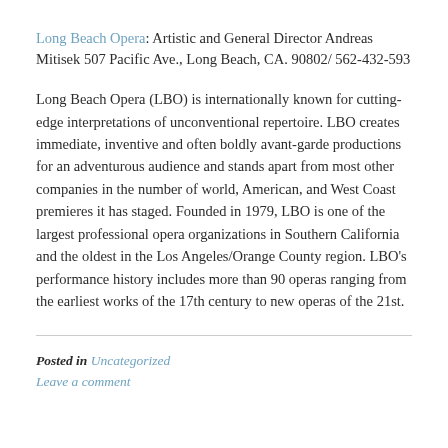Long Beach Opera: Artistic and General Director Andreas Mitisek 507 Pacific Ave., Long Beach, CA. 90802/ 562-432-593
Long Beach Opera (LBO) is internationally known for cutting-edge interpretations of unconventional repertoire. LBO creates immediate, inventive and often boldly avant-garde productions for an adventurous audience and stands apart from most other companies in the number of world, American, and West Coast premieres it has staged. Founded in 1979, LBO is one of the largest professional opera organizations in Southern California and the oldest in the Los Angeles/Orange County region. LBO's performance history includes more than 90 operas ranging from the earliest works of the 17th century to new operas of the 21st.
Posted in Uncategorized
Leave a comment